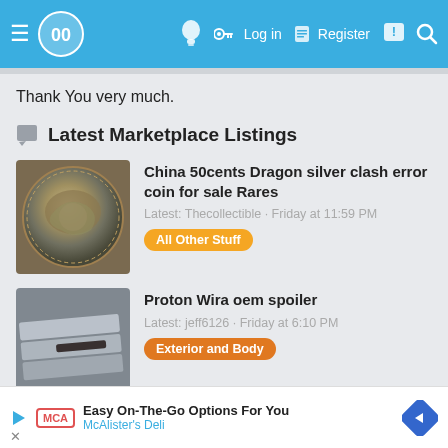≡ [logo] [lightbulb] [key] Log in [register] Register [chat] [search]
Thank You very much.
Latest Marketplace Listings
China 50cents Dragon silver clash error coin for sale Rares
Latest: Thecollectible · Friday at 11:59 PM
All Other Stuff
Proton Wira oem spoiler
Latest: jeff6126 · Friday at 6:10 PM
Exterior and Body
[Figure (screenshot): Advertisement for McAlister's Deli: Easy On-The-Go Options For You]